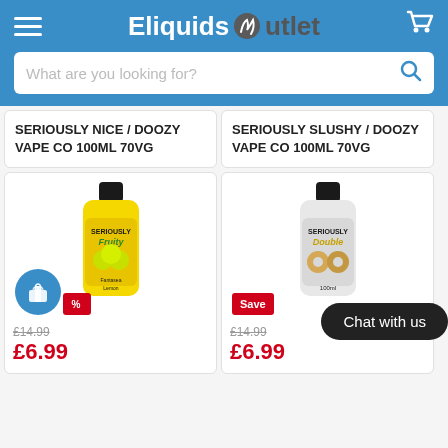Eliquids Outlet
What are you looking for?
SERIOUSLY NICE / DOOZY VAPE CO 100ML 70VG
SERIOUSLY SLUSHY / DOOZY VAPE CO 100ML 70VG
[Figure (photo): Seriously Fruity e-liquid bottle, yellow/lemon design, 100ml]
£14.99 £6.99
[Figure (photo): Seriously Double e-liquid bottle, donut design, 100ml]
£14.99 £6.99
Chat with us